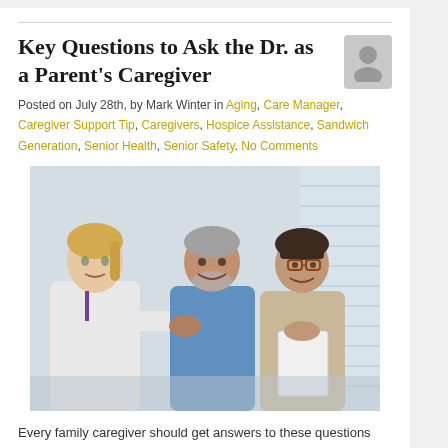Key Questions to Ask the Dr. as a Parent's Caregiver
Posted on July 28th, by Mark Winter in Aging, Care Manager, Caregiver Support Tip, Caregivers, Hospice Assistance, Sandwich Generation, Senior Health, Senior Safety. No Comments
[Figure (photo): A female doctor in a white coat shaking hands with an elderly man in a blue shirt, while an elderly woman with glasses holds a document and smiles. Medical office setting.]
Every family caregiver should get answers to these questions from the doctor.